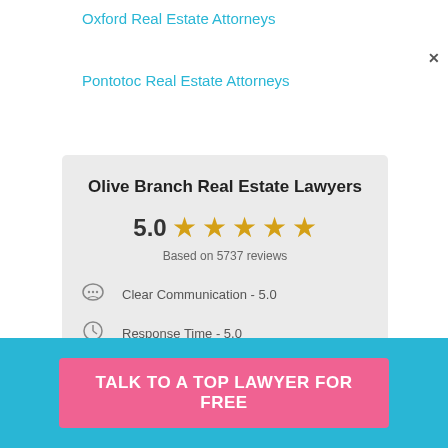Oxford Real Estate Attorneys
Pontotoc Real Estate Attorneys
[Figure (infographic): Rating card showing 5.0 stars based on 5737 reviews, with sub-ratings: Clear Communication - 5.0, Response Time - 5.0, Knowledgeable - 5.0, Meets Deadlines - 5.0]
UpCounsel is a secure service for your business legal needs
TALK TO A TOP LAWYER FOR FREE